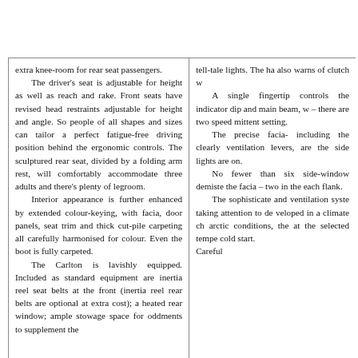extra knee-room for rear seat passengers. The driver's seat is adjustable for height as well as reach and rake. Front seats have revised head restraints adjustable for height and angle. So people of all shapes and sizes can tailor a perfect fatigue-free driving position behind the ergonomic controls. The sculptured rear seat, divided by a folding arm rest, will comfortably accommodate three adults and there's plenty of legroom. Interior appearance is further enhanced by extended colour-keying, with facia, door panels, seat trim and thick cut-pile carpeting all carefully harmonised for colour. Even the boot is fully carpeted. The Carlton is lavishly equipped. Included as standard equipment are inertia reel seat belts at the front (inertia reel rear belts are optional at extra cost); a heated rear window; ample stowage space for oddments to supplement the
tell-tale lights. The ha also warns of clutch w A single fingertip controls the indicator dip and main beam, w – there are two speed mittent setting. The precise facia- including the clearly ventilation levers, are the side lights are on. No fewer than six side-window demiste the facia – two in the each flank. The sophisticate and ventilation syste taking attention to de veloped in a climate ch arctic conditions, the at the selected tempe cold start. Careful